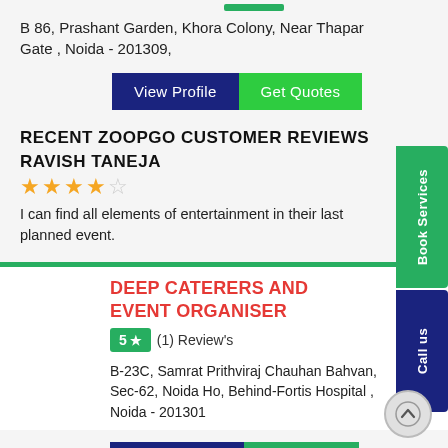B 86, Prashant Garden, Khora Colony, Near Thapar Gate , Noida - 201309,
View Profile | Get Quotes
RECENT ZOOPGO CUSTOMER REVIEWS
RAVISH TANEJA
★★★★☆ (4 stars)
I can find all elements of entertainment in their last planned event.
DEEP CATERERS AND EVENT ORGANISER
5 ★ (1) Review's
B-23C, Samrat Prithviraj Chauhan Bahvan, Sec-62, Noida Ho, Behind-Fortis Hospital , Noida - 201301